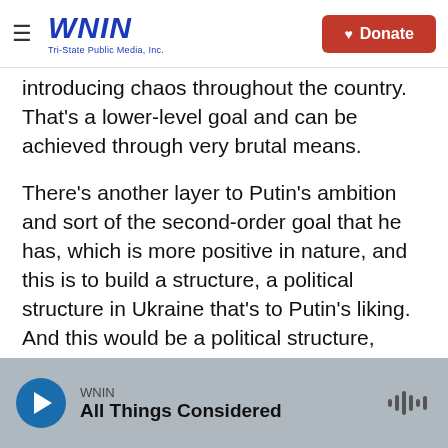WNIN Tri-State Public Media, Inc. | Donate
introducing chaos throughout the country. That's a lower-level goal and can be achieved through very brutal means.
There's another layer to Putin's ambition and sort of the second-order goal that he has, which is more positive in nature, and this is to build a structure, a political structure in Ukraine that's to Putin's liking. And this would be a political structure, perhaps a country partitioned. I doubt it would be over all of Ukrainian territory, but [it would be] a political structure that is deferential or subservient to Moscow.
WNIN | All Things Considered